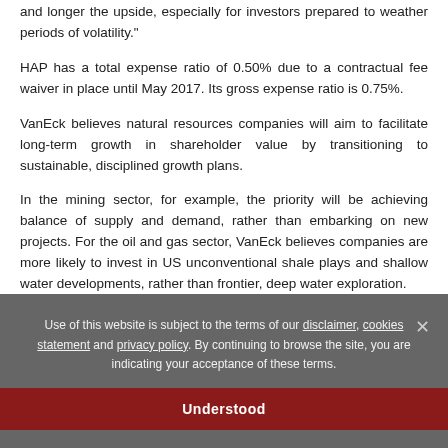and longer the upside, especially for investors prepared to weather periods of volatility."
HAP has a total expense ratio of 0.50% due to a contractual fee waiver in place until May 2017. Its gross expense ratio is 0.75%.
VanEck believes natural resources companies will aim to facilitate long-term growth in shareholder value by transitioning to sustainable, disciplined growth plans.
In the mining sector, for example, the priority will be achieving balance of supply and demand, rather than embarking on new projects. For the oil and gas sector, VanEck believes companies are more likely to invest in US unconventional shale plays and shallow water developments, rather than frontier, deep water exploration.
Use of this website is subject to the terms of our disclaimer, cookies statement and privacy policy. By continuing to browse the site, you are indicating your acceptance of these terms. [Understood button]